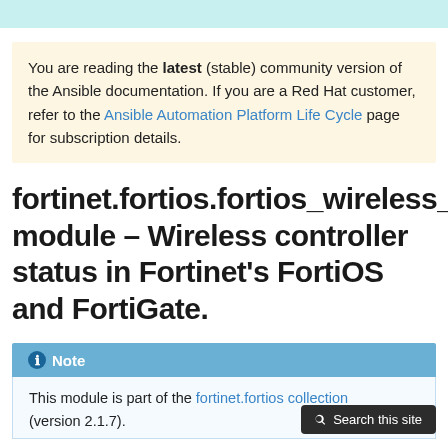You are reading the latest (stable) community version of the Ansible documentation. If you are a Red Hat customer, refer to the Ansible Automation Platform Life Cycle page for subscription details.
fortinet.fortios.fortios_wireless_ module – Wireless controller status in Fortinet's FortiOS and FortiGate.
Note
This module is part of the fortinet.fortios collection (version 2.1.7).